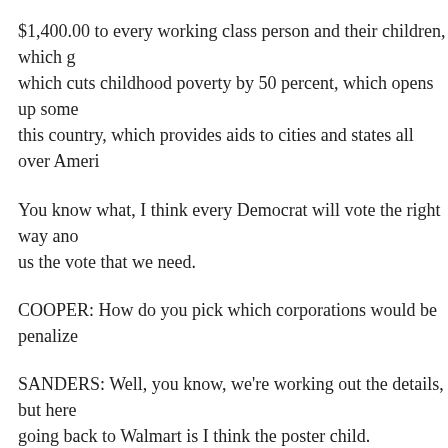$1,400.00 to every working class person and their children, which gives people money, which cuts childhood poverty by 50 percent, which opens up some childcare in this country, which provides aids to cities and states all over America,
You know what, I think every Democrat will vote the right way and some Republicans will give us the vote that we need.
COOPER: How do you pick which corporations would be penalized?
SANDERS: Well, you know, we're working out the details, but here is my thinking and going back to Walmart is I think the poster child.
This is a family that is incredibly wealthy. One of their owners spends $300 million on antique cars. They've got mansions. They have all kinds of art collections. And on the other another they can't pay their starting wage at more than 11 bucks an